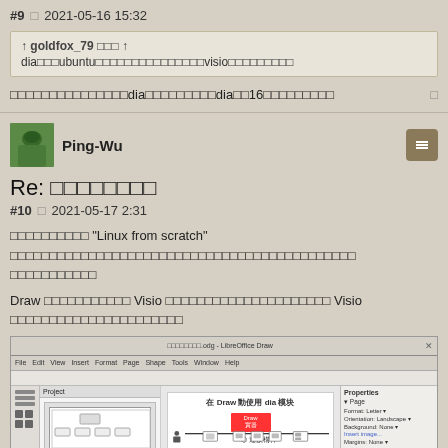#9  □  2021-05-16 15:32
↑ goldfox_79 □□□ ↑
dia□□□ubuntu□□□□□□□□□□□□□□□visio□□□□□□□□□
□□□□□□□□□□□□□□□dia□□□□□□□□□dia□□16□□□□□□□□□
Re: □□□□□□□□
#10  □  2021-05-17 2:31
□□□□□□□□□□ "Linux from scratch" □□□□□□□□□□□□□□□□□□□□□□□□□□□□□□□□□□□□□□□□□□□□ □□□□□□□□□□□
Draw □□□□□□□□□□□ Visio □□□□□□□□□□□□□□□□□□□□□ Visio □□□□□□□□□□□□□□□□□□□□□□
[Figure (screenshot): Screenshot of LibreOffice Draw application showing a flowchart diagram with Chinese text labels, sidebar panels, and properties panel on the right]